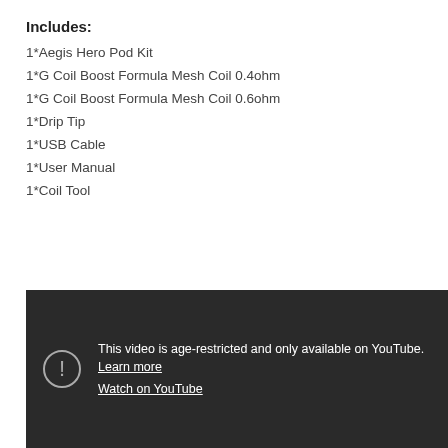Includes:
1*Aegis Hero Pod Kit
1*G Coil Boost Formula Mesh Coil 0.4ohm
1*G Coil Boost Formula Mesh Coil 0.6ohm
1*Drip Tip
1*USB Cable
1*User Manual
1*Coil Tool
[Figure (screenshot): Age-restricted YouTube video embed showing a dark background with an exclamation icon, text reading 'This video is age-restricted and only available on YouTube. Learn more' and a 'Watch on YouTube' link.]